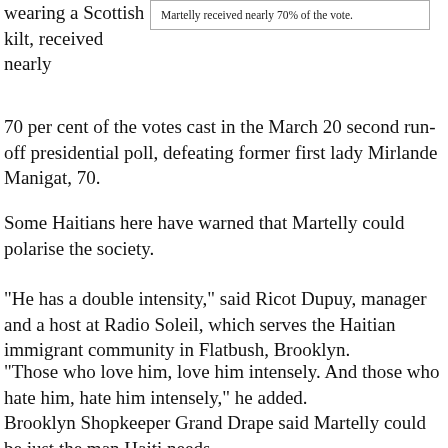wearing a Scottish kilt, received nearly 70 per cent of the votes cast in the March 20 second run-off presidential poll, defeating former first lady Mirlande Manigat, 70.
Martelly received nearly 70% of the vote.
Some Haitians here have warned that Martelly could polarise the society.
"He has a double intensity," said Ricot Dupuy, manager and a host at Radio Soleil, which serves the Haitian immigrant community in Flatbush, Brooklyn.
"Those who love him, love him intensely. And those who hate him, hate him intensely," he added. Brooklyn Shopkeeper Grand Drape said Martelly could be just the man Haiti needs. "He is good for Haiti," said Drape, 68. "He loves people. He can do something better for the country. Let's give this guy a try."
News of Martelly's win on Monday night was greeted with